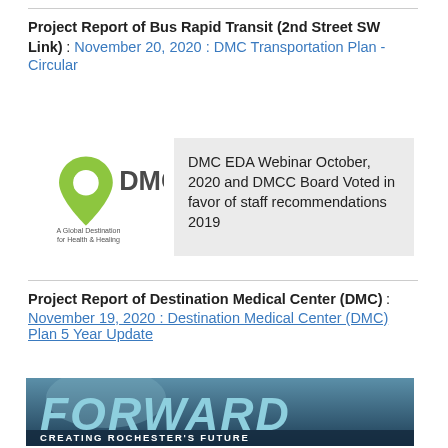Project Report of Bus Rapid Transit (2nd Street SW Link) : November 20, 2020 : DMC Transportation Plan - Circular
[Figure (logo): DMC logo with green map-pin shape containing asterisk, text 'DMC' in large letters, subtitle 'A Global Destination for Health & Healing']
DMC EDA Webinar October, 2020 and DMCC Board Voted in favor of staff recommendations 2019
Project Report of Destination Medical Center (DMC) : November 19, 2020 : Destination Medical Center (DMC) Plan 5 Year Update
[Figure (photo): Image with bold italic text 'FORWARD' in large blue/teal letters over a photograph, with subtitle 'CREATING ROCHESTER'S FUTURE' in white on dark background]